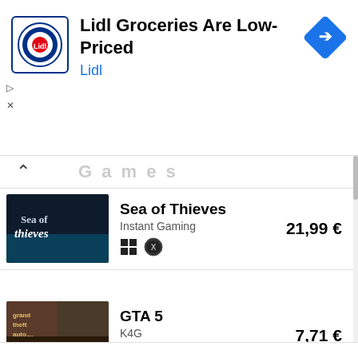[Figure (screenshot): Lidl advertisement banner with logo, title 'Lidl Groceries Are Low-Priced', subtitle 'Lidl', and navigation arrow icon on the right]
Sea of Thieves
Instant Gaming
21,99 €
GTA 5
K4G
7,71 €
Ready Or Not
We use cookies on our website to give you the most relevant experience by remembering your preferences and repeat visits. By clicking "Accept All", you consent to the use of ALL the cookies. However, you may visit "Cookie Settings" to provide a controlled consent.
Cookie Settings
Accept All